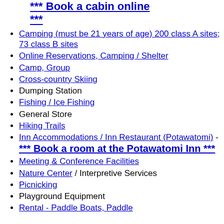*** Book a cabin online ***
Camping (must be 21 years of age) 200 class A sites; 73 class B sites
Online Reservations, Camping / Shelter
Camp, Group
Cross-country Skiing
Dumping Station
Fishing / Ice Fishing
General Store
Hiking Trails
Inn Accommodations / Inn Restaurant (Potawatomi) - *** Book a room at the Potawatomi Inn ***
Meeting & Conference Facilities
Nature Center / Interpretive Services
Picnicking
Playground Equipment
Rental - Paddle Boats, Paddle